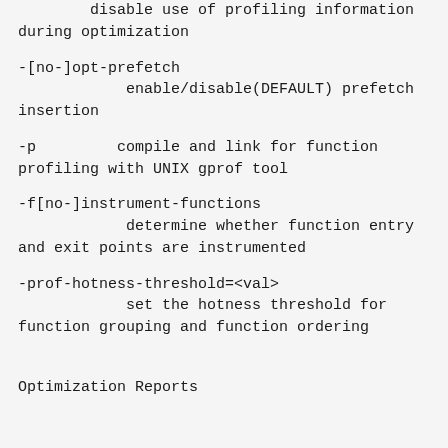disable use of profiling information during optimization
-[no-]opt-prefetch
            enable/disable(DEFAULT) prefetch insertion
-p         compile and link for function profiling with UNIX gprof tool
-f[no-]instrument-functions
            determine whether function entry and exit points are instrumented
-prof-hotness-threshold=<val>
            set the hotness threshold for function grouping and function ordering
Optimization Reports